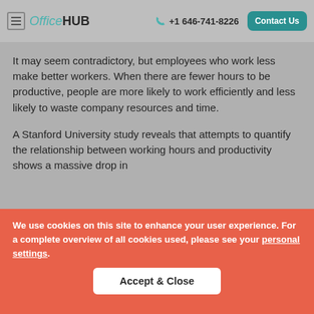OfficeHUB  +1 646-741-8226  Contact Us
It may seem contradictory, but employees who work less make better workers. When there are fewer hours to be productive, people are more likely to work efficiently and less likely to waste company resources and time.
A Stanford University study reveals that attempts to quantify the relationship between working hours and productivity shows a massive drop in
We use cookies on this site to enhance your user experience. For a complete overview of all cookies used, please see your personal settings.
Accept & Close